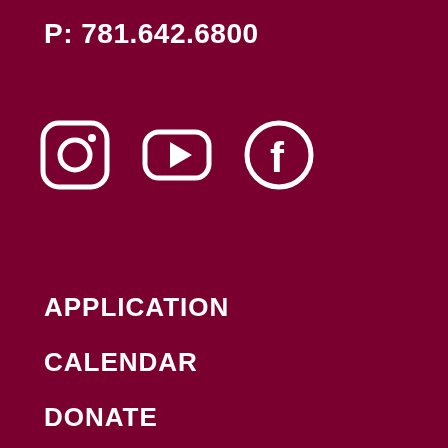P: 781.642.6800
[Figure (illustration): Three social media icons in white on dark red background: Instagram, YouTube, Facebook]
APPLICATION
CALENDAR
DONATE
CONTACT US
CAREERS